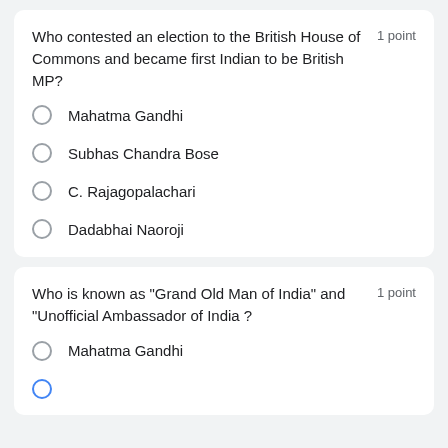Who contested an election to the British House of Commons and became first Indian to be British MP?
1 point
Mahatma Gandhi
Subhas Chandra Bose
C. Rajagopalachari
Dadabhai Naoroji
Who is known as "Grand Old Man of India" and "Unofficial Ambassador of India ?
1 point
Mahatma Gandhi
Dadabhai Naoroji